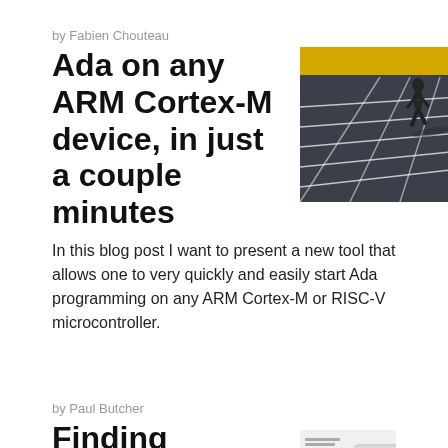by Fabien Chouteau
Ada on any ARM Cortex-M device, in just a couple minutes
[Figure (photo): A runner sprinting on a track viewed from above, with lane lines visible, dramatic lighting]
In this blog post I want to present a new tool that allows one to very quickly and easily start Ada programming on any ARM Cortex-M or RISC-V microcontroller.
by Paul Butcher
Finding Vulnerabilities
[Figure (screenshot): A screenshot showing a fuzzing tool diagram with boxes and arrows]